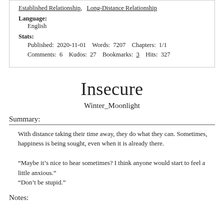Established Relationship,  Long-Distance Relationship
Language:
  English
Stats:
  Published: 2020-11-01  Words: 7207  Chapters: 1/1
  Comments: 6  Kudos: 27  Bookmarks: 3  Hits: 327
Insecure
Winter_Moonlight
Summary:
With distance taking their time away, they do what they can. Sometimes, happiness is being sought, even when it is already there.

“Maybe it’s nice to hear sometimes? I think anyone would start to feel a little anxious.”
“Don’t be stupid.”
Notes: